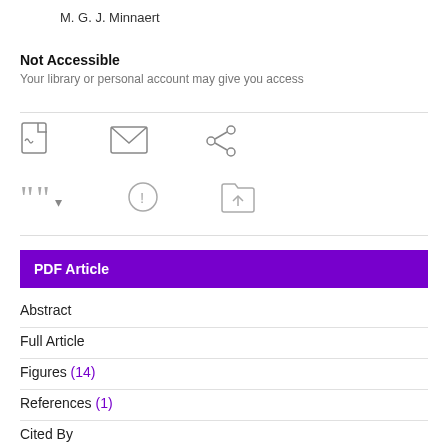M. G. J. Minnaert
Not Accessible
Your library or personal account may give you access
[Figure (infographic): Row of three icons: PDF document icon, envelope/email icon, share/network icon]
[Figure (infographic): Row of three icons: citation/quote icon with dropdown arrow, info-in-circle icon, upload-to-folder icon]
PDF Article
Abstract
Full Article
Figures (14)
References (1)
Cited By